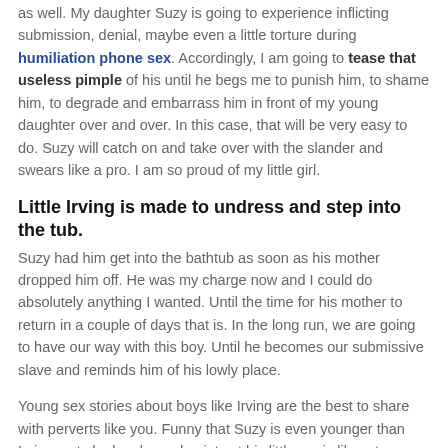as well. My daughter Suzy is going to experience inflicting submission, denial, maybe even a little torture during humiliation phone sex. Accordingly, I am going to tease that useless pimple of his until he begs me to punish him, to shame him, to degrade and embarrass him in front of my young daughter over and over. In this case, that will be very easy to do. Suzy will catch on and take over with the slander and swears like a pro. I am so proud of my little girl.
Little Irving is made to undress and step into the tub.
Suzy had him get into the bathtub as soon as his mother dropped him off. He was my charge now and I could do absolutely anything I wanted. Until the time for his mother to return in a couple of days that is. In the long run, we are going to have our way with this boy. Until he becomes our submissive slave and reminds him of his lowly place.
Young sex stories about boys like Irving are the best to share with perverts like you. Funny that Suzy is even younger than Irving, yet she laughs and points at his little penis like a true alpha female. I teach her to wash that little boy penis with her soapy hand while she watches the faces Irving makes. Suzy has that piggy butt plug plugging him up! Hs boy penis is acting more like a man penis with Suzy looking on and laughing like she is during ageplay phone sex.